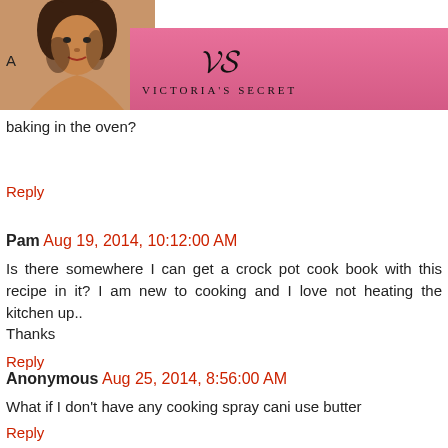[Figure (screenshot): Victoria's Secret advertisement banner with model photo, pink background, VS logo, 'SHOP THE COLLECTION' text, and 'SHOP NOW' white button]
baking in the oven?
Reply
Pam Aug 19, 2014, 10:12:00 AM
Is there somewhere I can get a crock pot cook book with this recipe in it? I am new to cooking and I love not heating the kitchen up..
Thanks
Reply
Anonymous Aug 25, 2014, 8:56:00 AM
What if I don't have any cooking spray cani use butter
Reply